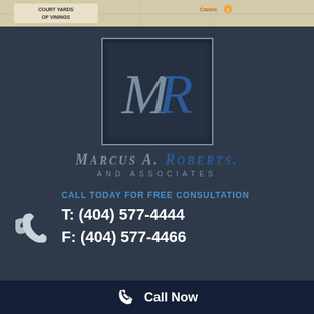[Figure (map): Street map strip showing 'COURT YARDS OF VININGS' and 'Canoe' location marker]
[Figure (logo): Marcus A. Roberts and Associates law firm logo — square border with MR monogram, M in silver/gray and R in blue]
Marcus A. Roberts and Associates
CALL TODAY FOR FREE CONSULTATION
T: (404) 577-4444
F: (404) 577-4466
Call Now